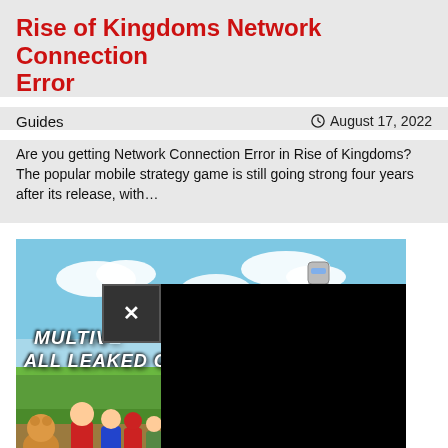Rise of Kingdoms Network Connection Error
Guides
August 17, 2022
Are you getting Network Connection Error in Rise of Kingdoms? The popular mobile strategy game is still going strong four years after its release, with…
[Figure (screenshot): Screenshot of MultiVersus game with characters on a grassy field, overlaid with a dark video player popup with an X close button. Text overlay reads MULTIV... ALL LEAKED C... and FREE TO PLA... watermark in corner.]
MultiVersus All Leaked Characters